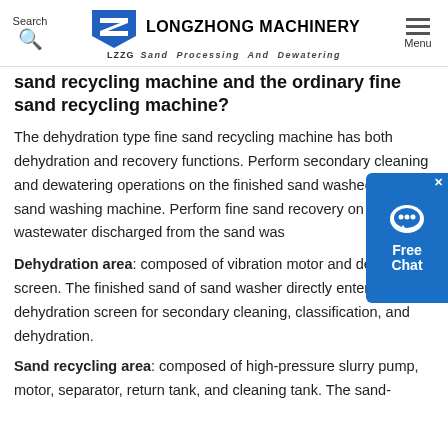Search | LONGZHONG MACHINERY Sand Processing And Dewatering | Menu
sand recycling machine and the ordinary fine sand recycling machine?
The dehydration type fine sand recycling machine has both dehydration and recovery functions. Perform secondary cleaning and dewatering operations on the finished sand washed by the sand washing machine. Perform fine sand recovery on the wastewater discharged from the sand was
[Figure (other): Free Chat widget button with speech bubble icon on blue background]
Dehydration area: composed of vibration motor and dewatering screen. The finished sand of sand washer directly enters the dehydration screen for secondary cleaning, classification, and dehydration.
Sand recycling area: composed of high-pressure slurry pump, motor, separator, return tank, and cleaning tank. The sand-